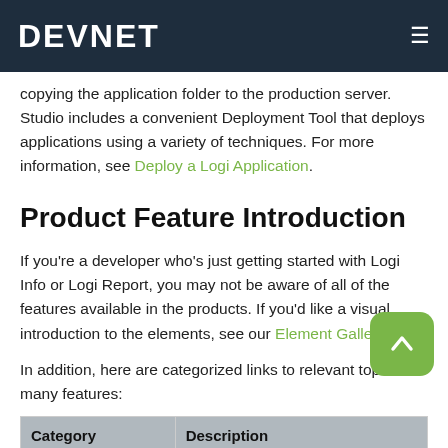DEVNET
copying the application folder to the production server. Studio includes a convenient Deployment Tool that deploys applications using a variety of techniques. For more information, see Deploy a Logi Application.
Product Feature Introduction
If you're a developer who's just getting started with Logi Info or Logi Report, you may not be aware of all of the features available in the products. If you'd like a visual introduction to the elements, see our Element Gallery.
In addition, here are categorized links to relevant topics for many features:
| Category | Description |
| --- | --- |
|  | Studio is our development tool. Your next |